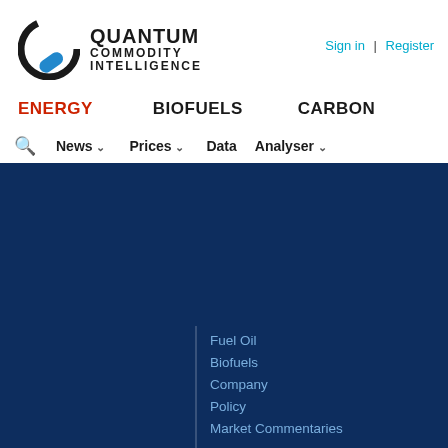[Figure (logo): Quantum Commodity Intelligence logo - circular icon with Q and blue capsule shape, next to bold text QUANTUM COMMODITY INTELLIGENCE]
Sign in | Register
ENERGY
BIOFUELS
CARBON
News
Prices
Data
Analyser
Fuel Oil
Biofuels
Company
Policy
Market Commentaries
Price Assessments
Crude Oil
LPG
Naphtha
Gasoline
Jet Kero
Gasoil-Diesel
Fuel Oil